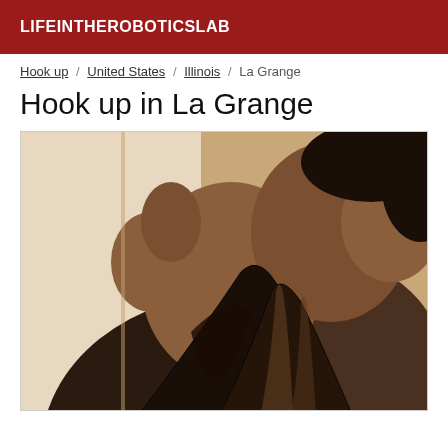LIFEINTHEROBOTICSLАB
Hook up / United States / Illinois / La Grange
Hook up in La Grange
[Figure (photo): Close-up photo of a woman in a dark low-cut wrap dress]